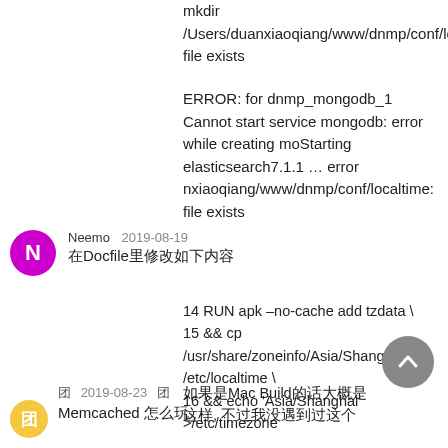mkdir /Users/duanxiaoqiang/www/dnmp/conf/localtime: file exists
ERROR: for dnmp_mongodb_1 Cannot start service mongodb: error while creating moStarting elasticsearch7.1.1 … error nxiaoqiang/www/dnmp/conf/localtime: file exists
Neemo   2019-08-19
在Docfile里修改如下内容
14 RUN apk –no-cache add tzdata \
15 && cp /usr/share/zoneinfo/Asia/Shanghai /etc/localtime \
16 && echo 'Asia/Shanghai' >/etc/timezone
如果是Mac Build的话大概是这样, 不过我没遇到过这个
团 2019-08-23 团
Memcached 怎么玩